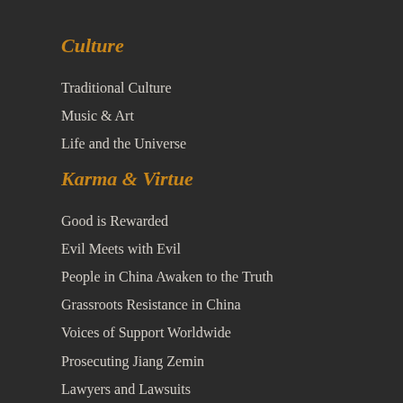Culture
Traditional Culture
Music & Art
Life and the Universe
Karma & Virtue
Good is Rewarded
Evil Meets with Evil
People in China Awaken to the Truth
Grassroots Resistance in China
Voices of Support Worldwide
Prosecuting Jiang Zemin
Lawyers and Lawsuits
Solemn Declarations